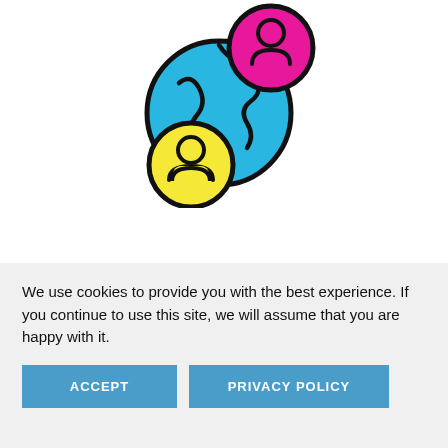[Figure (illustration): Colorful illustration showing a blue globe/earth circle with two person icons: one in a pink/magenta circle (top right) and one in a yellow circle (bottom left), connected by the globe. Drawn in a flat icon style with thick black outlines.]
Work Together Anywhere
Increase the feeling of togetherness on your remote team by creating a productive and
We use cookies to provide you with the best experience. If you continue to use this site, we will assume that you are happy with it.